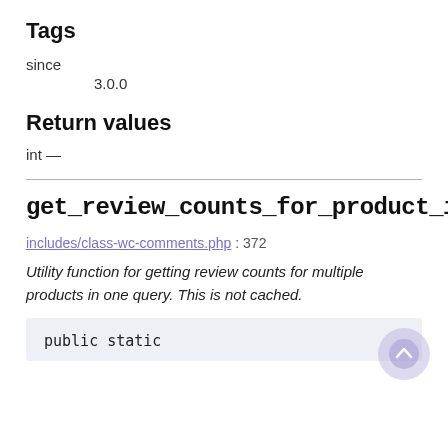Tags
since
3.0.0
Return values
int —
get_review_counts_for_product_ids()
includes/class-wc-comments.php : 372
Utility function for getting review counts for multiple products in one query. This is not cached.
public static